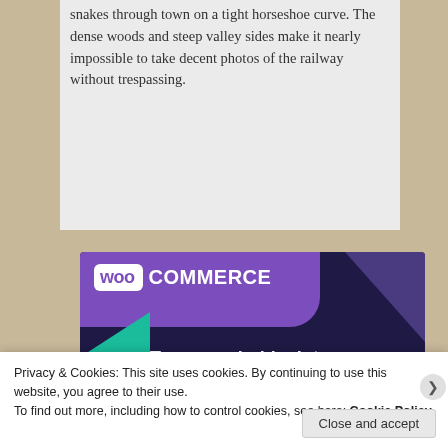snakes through town on a tight horseshoe curve. The dense woods and steep valley sides make it nearly impossible to take decent photos of the railway without trespassing.
[Figure (illustration): WooCommerce advertisement banner with dark navy background, purple speech-bubble logo area, green triangle shape on left, cyan circle on right, and text 'Turn your hobby into a business in 8 steps']
Privacy & Cookies: This site uses cookies. By continuing to use this website, you agree to their use. To find out more, including how to control cookies, see here: Cookie Policy